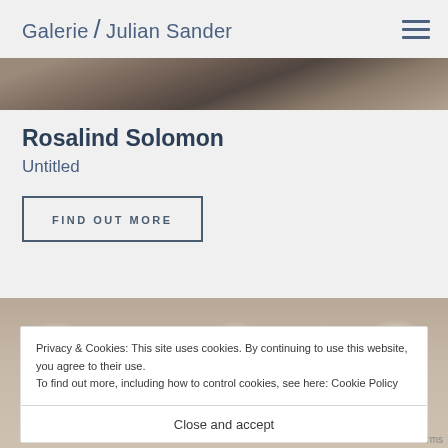Galerie / Julian Sander
[Figure (photo): Black and white photograph showing wooden planks or boards, top strip]
Rosalind Solomon
Untitled
FIND OUT MORE
[Figure (photo): Black and white photograph showing ceramic cups or pottery items clustered together]
Privacy & Cookies: This site uses cookies. By continuing to use this website, you agree to their use.
To find out more, including how to control cookies, see here: Cookie Policy
Close and accept
rms